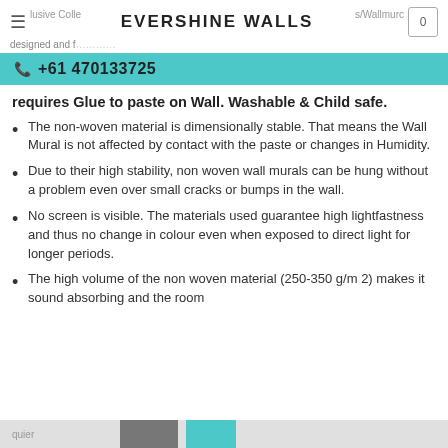EVERSHINE WALLS
lusive Colle… s/Wallmurc… designed and f…
☎ +61 470133725
requires Glue to paste on Wall. Washable & Child safe.
The non-woven material is dimensionally stable. That means the Wall Mural is not affected by contact with the paste or changes in Humidity.
Due to their high stability, non woven wall murals can be hung without a problem even over small cracks or bumps in the wall.
No screen is visible. The materials used guarantee high lightfastness and thus no change in colour even when exposed to direct light for longer periods.
The high volume of the non woven material (250-350 g/m 2) makes it sound absorbing and the room